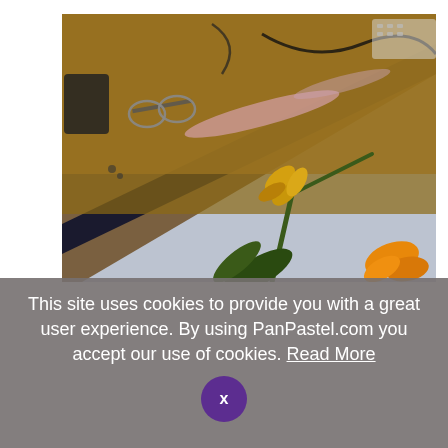[Figure (photo): A photo of an art studio desk with a botanical pastel painting in progress. The painting on gray paper shows a golden flower/bird-of-paradise plant. Art tools and eyeglasses visible on the wooden desk in the background.]
This site uses cookies to provide you with a great user experience. By using PanPastel.com you accept our use of cookies. Read More